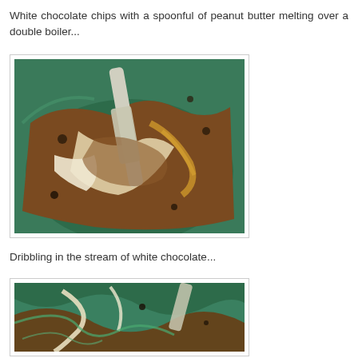White chocolate chips with a spoonful of peanut butter melting over a double boiler...
[Figure (photo): Close-up photo of white chocolate chips and peanut butter melting together in a green mixing bowl, being stirred with a white spatula]
Dribbling in the stream of white chocolate...
[Figure (photo): Close-up photo of chocolate mixture being swirled in a green bowl, showing streaks of green, brown and white chocolate]